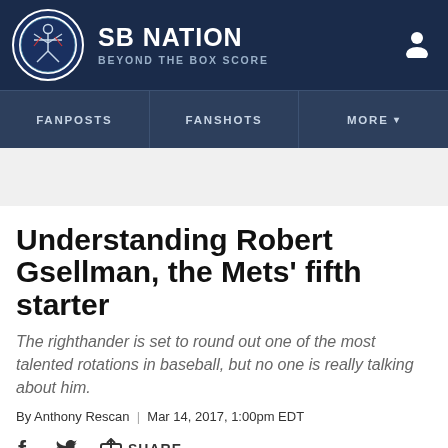SB NATION | BEYOND THE BOX SCORE
[Figure (logo): SBNation logo circle with Vitruvian man figure]
Understanding Robert Gsellman, the Mets' fifth starter
The righthander is set to round out one of the most talented rotations in baseball, but no one is really talking about him.
By Anthony Rescan | Mar 14, 2017, 1:00pm EDT